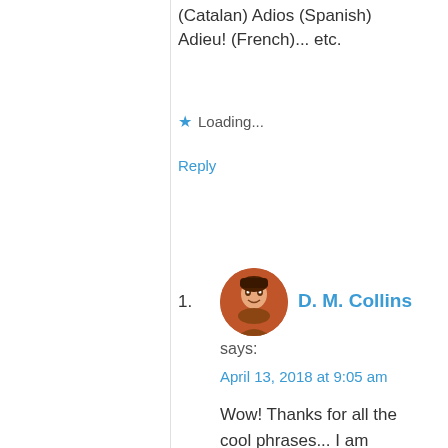(Catalan) Adios (Spanish) Adieu! (French)... etc.
★ Loading...
Reply
1.
D. M. Collins says:
April 13, 2018 at 9:05 am
Wow! Thanks for all the cool phrases... I am looking at the Catalan human towers right now, and these guys are amazing! I really like the phrase "the person that